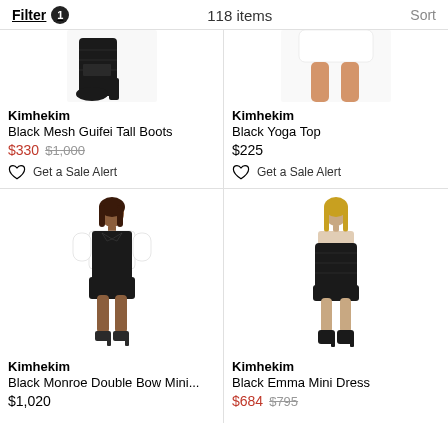Filter 1   118 items   Sort
[Figure (photo): Partial view of black high-heel mesh boots on white background]
Kimhekim
Black Mesh Guifei Tall Boots
$330 $1,000
Get a Sale Alert
[Figure (photo): Partial view of white mini skirt and legs on white background]
Kimhekim
Black Yoga Top
$225
Get a Sale Alert
[Figure (photo): Full body model wearing black mini dress with white sleeves and bow detail]
Kimhekim
Black Monroe Double Bow Mini...
$1,020
[Figure (photo): Full body model wearing black strapless Emma Mini Dress with boots]
Kimhekim
Black Emma Mini Dress
$684 $795